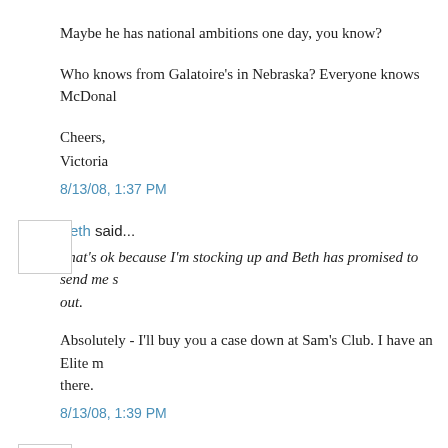Maybe he has national ambitions one day, you know?
Who knows from Galatoire's in Nebraska? Everyone knows McDonal…
Cheers,
Victoria
8/13/08, 1:37 PM
Beth said...
That's ok because I'm stocking up and Beth has promised to send me s… out.
Absolutely - I'll buy you a case down at Sam's Club. I have an Elite m… there.
8/13/08, 1:39 PM
vbspurs said...
And then there's the other reason Jindal said his favourite restaurant is…